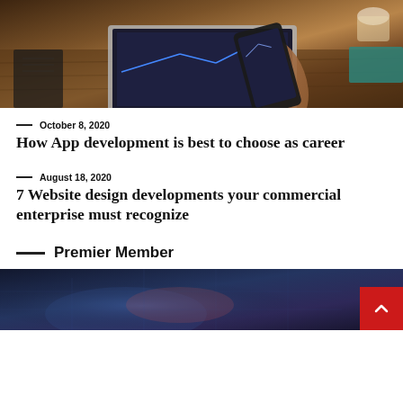[Figure (photo): Person holding a smartphone showing stock/finance charts, with a laptop on a wooden desk in the background]
— October 8, 2020
How App development is best to choose as career
— August 18, 2020
7 Website design developments your commercial enterprise must recognize
— Premier Member
[Figure (photo): Dark blue/purple atmospheric image, partially visible at bottom of page]